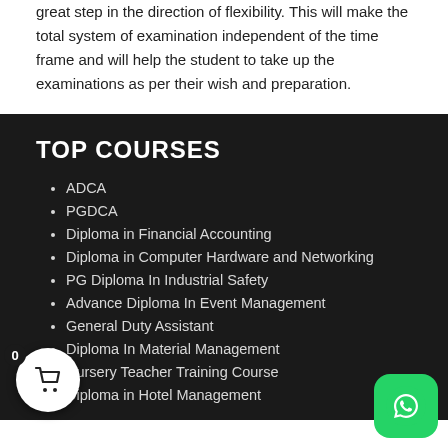great step in the direction of flexibility. This will make the total system of examination independent of the time frame and will help the student to take up the examinations as per their wish and preparation.
TOP COURSES
ADCA
PGDCA
Diploma in Financial Accounting
Diploma in Computer Hardware and Networking
PG Diploma In Industrial Safety
Advance Diploma In Event Management
General Duty Assistant
Diploma In Material Management
Nursery Teacher Training Course
Diploma in Hotel Management